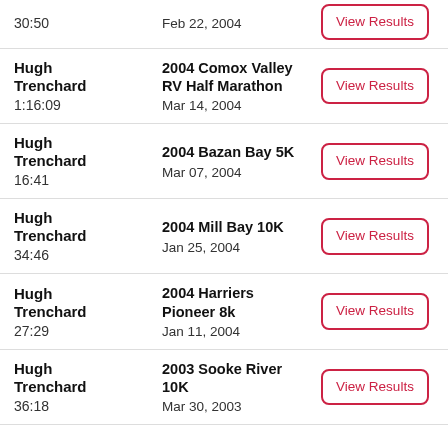| Athlete | Race | Action |
| --- | --- | --- |
| Hugh Trenchard
30:50 | Feb 22, 2004 | View Results |
| Hugh Trenchard
1:16:09 | 2004 Comox Valley RV Half Marathon
Mar 14, 2004 | View Results |
| Hugh Trenchard
16:41 | 2004 Bazan Bay 5K
Mar 07, 2004 | View Results |
| Hugh Trenchard
34:46 | 2004 Mill Bay 10K
Jan 25, 2004 | View Results |
| Hugh Trenchard
27:29 | 2004 Harriers Pioneer 8k
Jan 11, 2004 | View Results |
| Hugh Trenchard
36:18 | 2003 Sooke River 10K
Mar 30, 2003 | View Results |